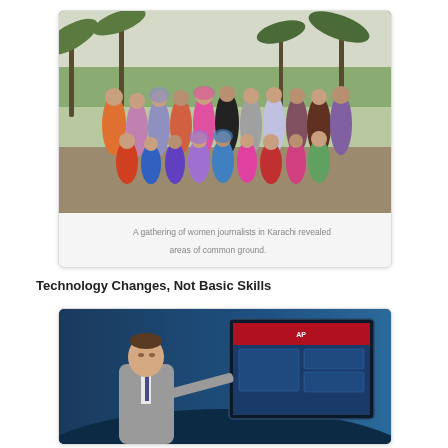[Figure (photo): A large group of women journalists posing together outdoors near a beach with palm trees in the background, in Karachi.]
A gathering of women journalists in Karachi revealed areas of common ground.
Technology Changes, Not Basic Skills
[Figure (photo): A man in a grey suit standing in front of a large TV screen displaying news content in a broadcast studio setting.]